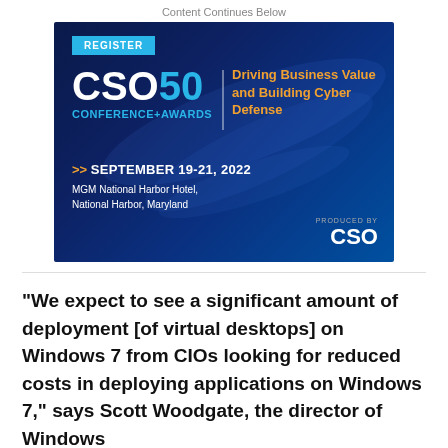Content Continues Below
[Figure (infographic): CSO50 Conference+Awards advertisement banner with dark blue background, light streaks. Contains REGISTER button in cyan, CSO50 logo, tagline 'Driving Business Value and Building Cyber Defense', event date SEPTEMBER 19-21, 2022, venue MGM National Harbor Hotel, National Harbor, Maryland, and CSO logo at bottom right.]
"We expect to see a significant amount of deployment [of virtual desktops] on Windows 7 from CIOs looking for reduced costs in deploying applications on Windows 7," says Scott Woodgate, the director of Windows